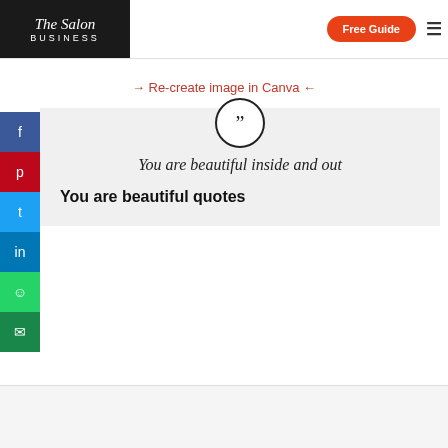The Salon Business — Free Guide
→ Re-create image in Canva ←
[Figure (illustration): Quotation mark icon inside a circle, followed by italic quote text 'You are beautiful inside and out' and bold heading 'You are beautiful quotes' on a light gray background.]
[Figure (infographic): Vertical social sharing sidebar with icons for Facebook, Pinterest, Twitter, LinkedIn, WhatsApp, and Email.]